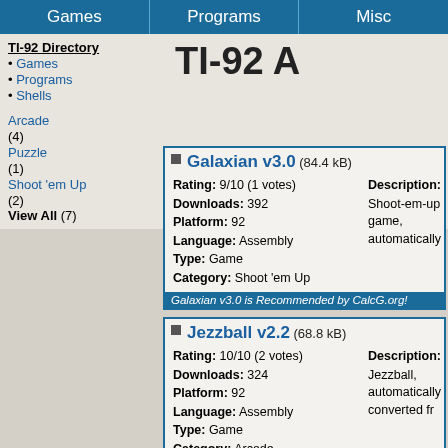Games | Programs | Misc
TI-92 A
TI-92 Directory
• Games
• Programs
• Shells
Arcade (4)
Puzzle (1)
Shoot 'em Up (2)
View All (7)
Galaxian v3.0 (84.4 kB)
Rating: 9/10 (1 votes) Description: Shoot-em-up game, automatically Downloads: 392 Platform: 92 Language: Assembly Type: Game Category: Shoot 'em Up
Galaxian v3.0 is Recommended by CalcG.org!
Jezzball v2.2 (68.8 kB)
Rating: 10/10 (2 votes) Description: Jezzball, automatically converted fr Downloads: 324 Platform: 92 Language: Assembly Type: Game Category: Arcade
Lunoid 2.0.016 (12.5 kB)